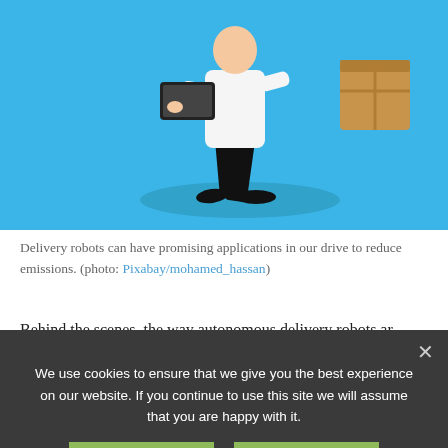[Figure (illustration): Blue background illustration showing a person in white shirt and black pants holding a laptop, with a cardboard box visible to the right, and a dark oval shadow beneath the figure.]
Delivery robots can have promising applications in our drive to reduce emissions. (photo: Pixabay/mohamed_hassan)
Behind the scenes, the way autonomous delivery robots ar
We use cookies to ensure that we give you the best experience on our website. If you continue to use this site we will assume that you are happy with it.